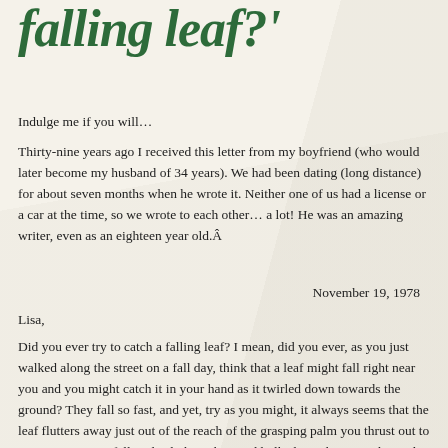falling leaf?'
Indulge me if you will…
Thirty-nine years ago I received this letter from my boyfriend (who would later become my husband of 34 years). We had been dating (long distance) for about seven months when he wrote it. Neither one of us had a license or a car at the time, so we wrote to each other… a lot! He was an amazing writer, even as an eighteen year old.Â
November 19, 1978
Lisa,
Did you ever try to catch a falling leaf? I mean, did you ever, as you just walked along the street on a fall day, think that a leaf might fall right near you and you might catch it in your hand as it twirled down towards the ground? They fall so fast, and yet, try as you might, it always seems that the leaf flutters away just out of the reach of the grasping palm you thrust out to meet it. So many fall, indeed, their shattered hulks litter the street, heaped together by some early bird housewife, or